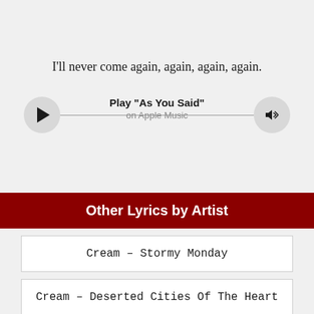I'll never come again, again, again, again.
[Figure (other): Music player bar with play button, 'Play "As You Said"' title, 'on Apple Music' subtitle, and volume icon]
Other Lyrics by Artist
Cream – Stormy Monday
Cream – Deserted Cities Of The Heart
Cream – Born Under A Bad Sign
Cream – Those Were The Days